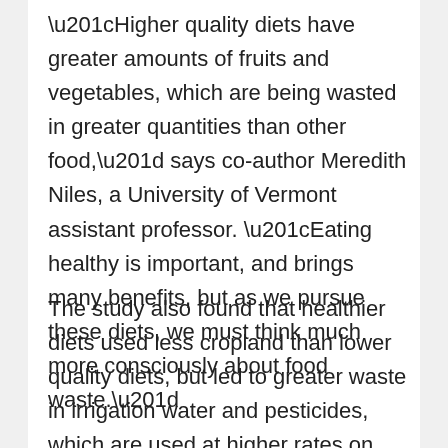“Higher quality diets have greater amounts of fruits and vegetables, which are being wasted in greater quantities than other food,” says co-author Meredith Niles, a University of Vermont assistant professor. “Eating healthy is important, and brings many benefits, but as we pursue these diets, we must think much more consciously about food waste.”
The study also found that healthier diets used less cropland than lower quality diets, but led to greater waste in irrigation water and pesticides, which are used at higher rates on average for growing fruits and vegetables.